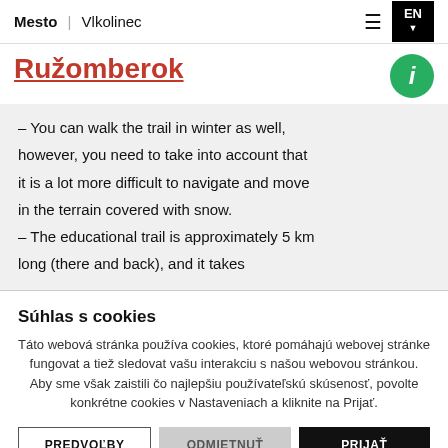Mesto | Vlkolinec
Ružomberok
– You can walk the trail in winter as well, however, you need to take into account that it is a lot more difficult to navigate and move in the terrain covered with snow.
– The educational trail is approximately 5 km long (there and back), and it takes
Súhlas s cookies
Táto webová stránka používa cookies, ktoré pomáhajú webovej stránke fungovat a tiež sledovat vašu interakciu s našou webovou stránkou. Aby sme však zaistili čo najlepšiu používateľskú skúsenosť, povolte konkrétne cookies v Nastaveniach a kliknite na Prijať.
PREDVOĽBY | ODMIETNUŤ | PRIJAŤ